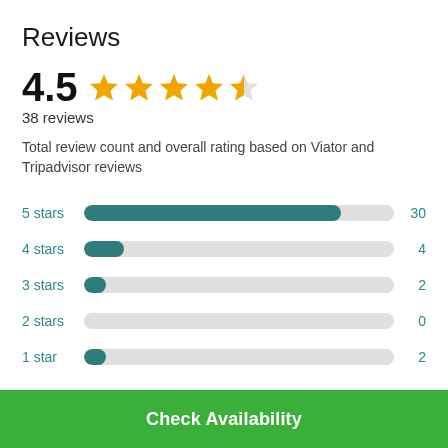Reviews
4.5 ★★★★½
38 reviews
Total review count and overall rating based on Viator and Tripadvisor reviews
[Figure (bar-chart): Star rating distribution]
Check Availability